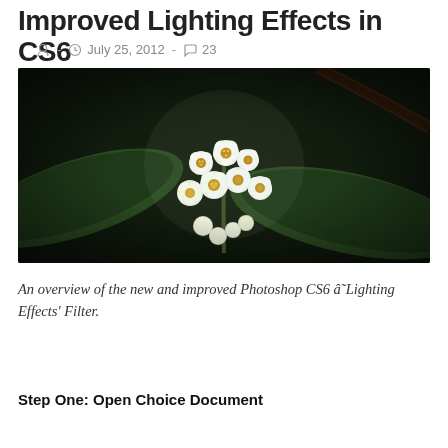Improved Lighting Effects in CS6
- July 25, 2012 - 23
[Figure (photo): Close-up photograph of white small flowers with yellow centers clustered together on a stem, surrounded by dark green leaves, on a dark background.]
An overview of the new and improved Photoshop CS6 â˜Lighting Effects' Filter.
Step One: Open Choice Document